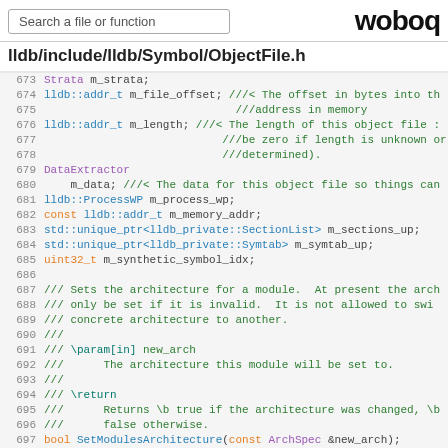Search a file or function | woboq
lldb/include/lldb/Symbol/ObjectFile.h
[Figure (screenshot): Source code viewer showing C++ header file lines 673-698 with syntax highlighting. Code shows member variables (m_strata, m_file_offset, m_length, m_data, m_process_wp, m_memory_addr, m_sections_up, m_symtab_up, m_synthetic_symbol_idx) and a doxygen comment block for SetModulesArchitecture function.]